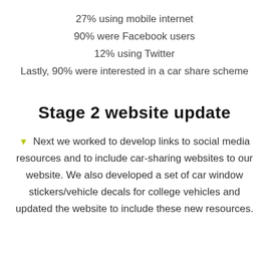27% using mobile internet
90% were Facebook users
12% using Twitter
Lastly, 90% were interested in a car share scheme
Stage 2 website update
Next we worked to develop links to social media resources and to include car-sharing websites to our website. We also developed a set of car window stickers/vehicle decals for college vehicles and updated the website to include these new resources.